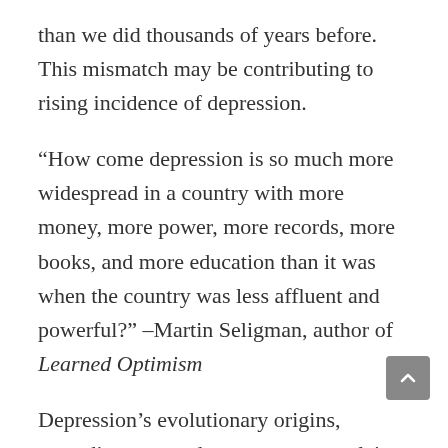than we did thousands of years before. This mismatch may be contributing to rising incidence of depression.
“How come depression is so much more widespread in a country with more money, more power, more records, more books, and more education than it was when the country was less affluent and powerful?” –Martin Seligman, author of Learned Optimism
Depression’s evolutionary origins, according to mood experts, may explain why rates of depression have grown tenfold in the past 100